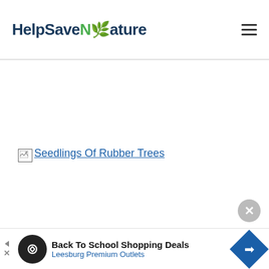HelpSaveNature
[Figure (other): Broken image placeholder with alt text 'Seedlings Of Rubber Trees' shown as a hyperlink]
[Figure (other): Close button (X) circle in bottom-right area]
Back To School Shopping Deals
Leesburg Premium Outlets